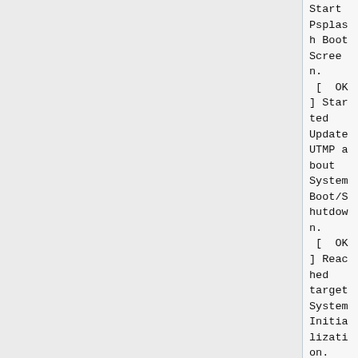Start Psplash Boot Screen.
 [ OK ] Started Update UTMP about System Boot/Shutdown.
 [ OK ] Reached target System Initialization.
 [ OK ] Listening on GPS (Global Positioning System) Daemon Sockets.
 [ OK ] Listening on D-Bus System Message Bus Socket.
         Starting sshd.socket.
 [ OK ] Started Daily Cleanup of Temporary Directories.
         Starting cynara-monitor-get.socket.
 [ OK ] Started dnf makecache timer